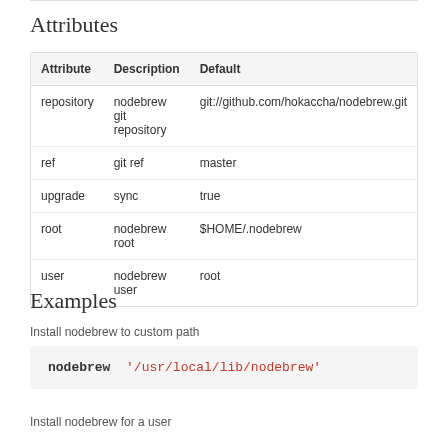Attributes
| Attribute | Description | Default |
| --- | --- | --- |
| repository | nodebrew git repository | git://github.com/hokaccha/nodebrew.git |
| ref | git ref | master |
| upgrade | sync | true |
| root | nodebrew root | $HOME/.nodebrew |
| user | nodebrew user | root |
Examples
Install nodebrew to custom path
nodebrew '/usr/local/lib/nodebrew'
Install nodebrew for a user